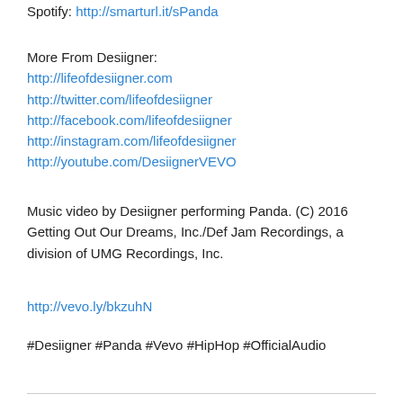Spotify: http://smarturl.it/sPanda
More From Desiigner:
http://lifeofdesiigner.com
http://twitter.com/lifeofdesiigner
http://facebook.com/lifeofdesiigner
http://instagram.com/lifeofdesiigner
http://youtube.com/DesiignerVEVO
Music video by Desiigner performing Panda. (C) 2016 Getting Out Our Dreams, Inc./Def Jam Recordings, a division of UMG Recordings, Inc.
http://vevo.ly/bkzuhN
#Desiigner #Panda #Vevo #HipHop #OfficialAudio